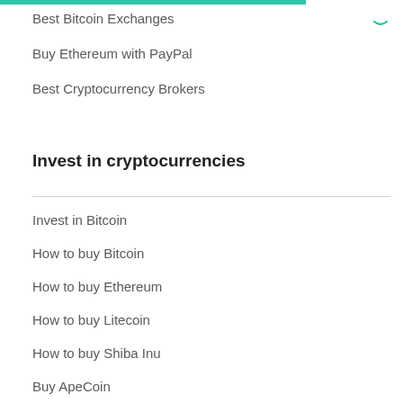Best Bitcoin Exchanges
Buy Ethereum with PayPal
Best Cryptocurrency Brokers
Invest in cryptocurrencies
Invest in Bitcoin
How to buy Bitcoin
How to buy Ethereum
How to buy Litecoin
How to buy Shiba Inu
Buy ApeCoin
How to buy cryptocurrencies
When is ETH merge?
Quantum AI Review
BitIQ Review